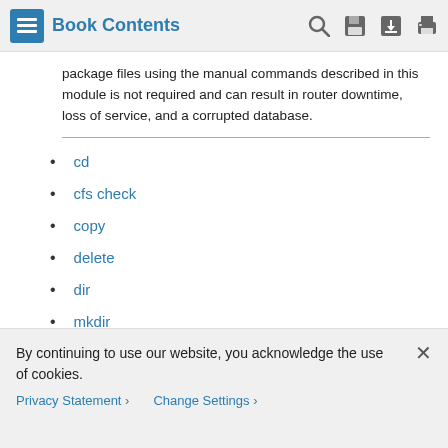Book Contents
package files using the manual commands described in this module is not required and can result in router downtime, loss of service, and a corrupted database.
cd
cfs check
copy
delete
dir
mkdir
pwd
rmdir
By continuing to use our website, you acknowledge the use of cookies.
Privacy Statement > Change Settings >